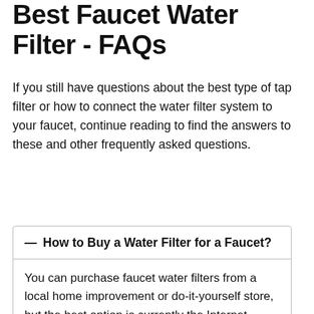Best Faucet Water Filter - FAQs
If you still have questions about the best type of tap filter or how to connect the water filter system to your faucet, continue reading to find the answers to these and other frequently asked questions.
— How to Buy a Water Filter for a Faucet?
You can purchase faucet water filters from a local home improvement or do-it-yourself store, but the best option is currently the Internet.

There are numerous options available from